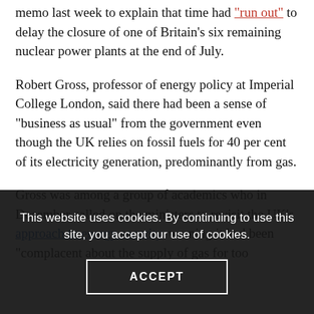The publisher EDF Energy, was forced to put out a memo last week to explain that time had "run out" to delay the closure of one of Britain's six remaining nuclear power plants at the end of July.
Robert Gross, professor of energy policy at Imperial College London, said there had been a sense of "business as usual" from the government even though the UK relies on fossil fuels for 40 per cent of its electricity generation, predominantly from gas.
Gross was among a group of academics who in December called on the ministers to revisit the UK’s approach to energy security, warning it had been “complacent about the supply of gas for too
This website uses cookies. By continuing to use this site, you accept our use of cookies.
ACCEPT